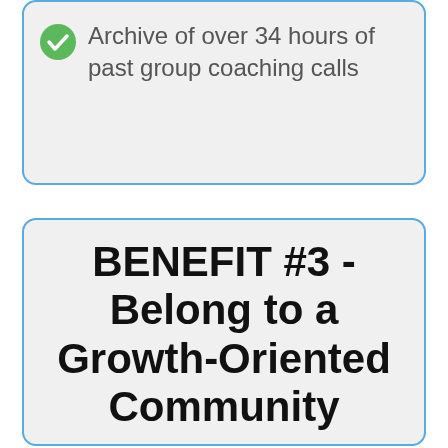Archive of over 34 hours of past group coaching calls
BENEFIT #3 - Belong to a Growth-Oriented Community